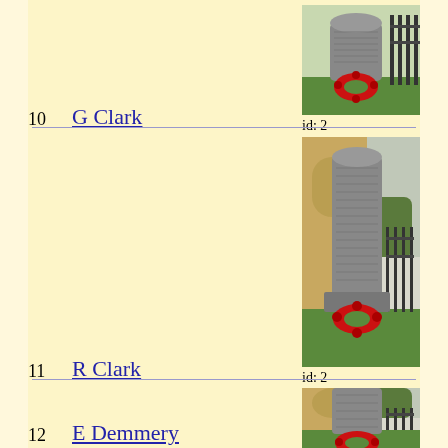10   G Clark   id: 2
[Figure (photo): Photograph of a gravestone with a red wreath at its base, grass in background, iron fence visible]
11   R Clark   id: 2
[Figure (photo): Photograph of a tall gravestone with a red wreath at its base, stone church wall behind, iron fence visible]
12   E Demmery
[Figure (photo): Photograph of a tall gravestone with a red wreath at its base, stone church wall behind, iron fence visible (partial)]